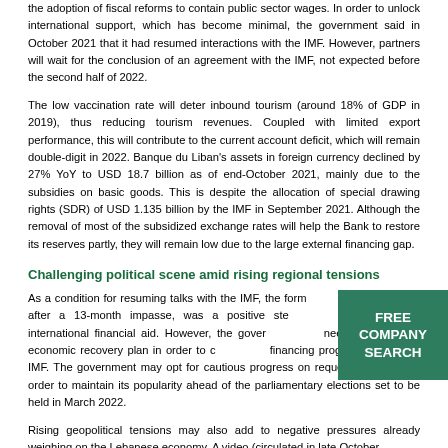the adoption of fiscal reforms to contain public sector wages. In order to unlock international support, which has become minimal, the government said in October 2021 that it had resumed interactions with the IMF. However, partners will wait for the conclusion of an agreement with the IMF, not expected before the second half of 2022.
The low vaccination rate will deter inbound tourism (around 18% of GDP in 2019), thus reducing tourism revenues. Coupled with limited export performance, this will contribute to the current account deficit, which will remain double-digit in 2022. Banque du Liban's assets in foreign currency declined by 27% YoY to USD 18.7 billion as of end-October 2021, mainly due to the subsidies on basic goods. This is despite the allocation of special drawing rights (SDR) of USD 1.135 billion by the IMF in September 2021. Although the removal of most of the subsidized exchange rates will help the Bank to restore its reserves partly, they will remain low due to the large external financing gap.
Challenging political scene amid rising regional tensions
As a condition for resuming talks with the IMF, the formation of a government, after a 13-month impasse, was a positive step towards much-needed international financial aid. However, the government will need to update its economic recovery plan in order to conclude a financing programme with the IMF. The government may opt for cautious progress on requested reforms in order to maintain its popularity ahead of the parliamentary elections set to be held in March 2022.
Rising geopolitical tensions may also add to negative pressures already weighing on the Lebanese economy. A video (circulated in late October